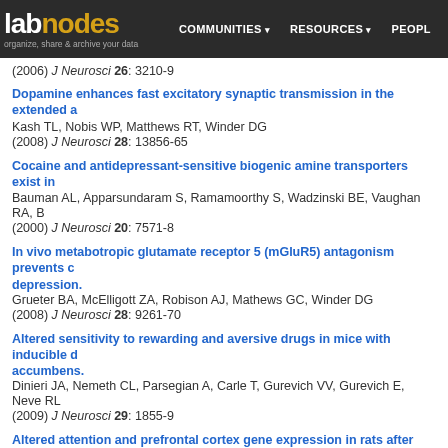labnodes — organize, share & archive your data | COMMUNITIES | RESOURCES | PEOPLE
(2006) J Neurosci 26: 3210-9
Dopamine enhances fast excitatory synaptic transmission in the extended a... Kash TL, Nobis WP, Matthews RT, Winder DG (2008) J Neurosci 28: 13856-65
Cocaine and antidepressant-sensitive biogenic amine transporters exist in... Bauman AL, Apparsundaram S, Ramamoorthy S, Wadzinski BE, Vaughan RA, B... (2000) J Neurosci 20: 7571-8
In vivo metabotropic glutamate receptor 5 (mGluR5) antagonism prevents c... depression. Grueter BA, McElligott ZA, Robison AJ, Mathews GC, Winder DG (2008) J Neurosci 28: 9261-70
Altered sensitivity to rewarding and aversive drugs in mice with inducible d... accumbens. Dinieri JA, Nemeth CL, Parsegian A, Carle T, Gurevich VV, Gurevich E, Neve RL... (2009) J Neurosci 29: 1855-9
Altered attention and prefrontal cortex gene expression in rats after binge-l... Black YD, Maclaren FR, Naydenov AV, Carlezon WA, Baxter MG, Konradi C (2006) J Neurosci 26: 9656-65